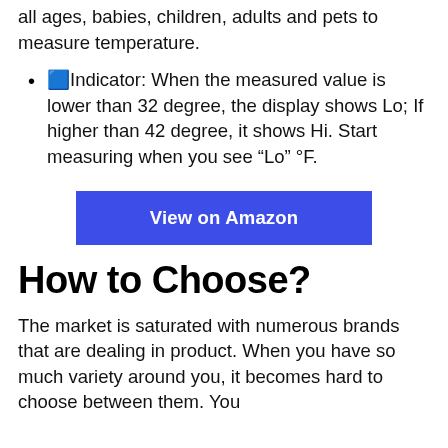all ages, babies, children, adults and pets to measure temperature.
🟦Indicator: When the measured value is lower than 32 degree, the display shows Lo; If higher than 42 degree, it shows Hi. Start measuring when you see “Lo” °F.
[Figure (other): Blue 'View on Amazon' button]
How to Choose?
The market is saturated with numerous brands that are dealing in product. When you have so much variety around you, it becomes hard to choose between them. You